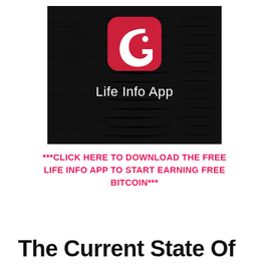[Figure (logo): Life Info App logo: red rounded-square icon with white stylized 'G' shape and dot on a dark/black textured background, with white text 'Life Info App' below the icon.]
***CLICK HERE TO DOWNLOAD THE FREE LIFE INFO APP TO START EARNING FREE BITCOIN***
The Current State Of